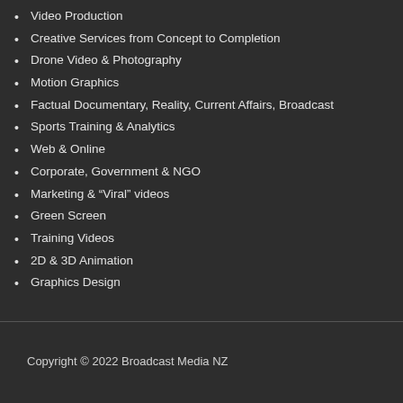Video Production
Creative Services from Concept to Completion
Drone Video & Photography
Motion Graphics
Factual Documentary, Reality, Current Affairs, Broadcast
Sports Training & Analytics
Web & Online
Corporate, Government & NGO
Marketing & “Viral” videos
Green Screen
Training Videos
2D & 3D Animation
Graphics Design
Copyright © 2022 Broadcast Media NZ